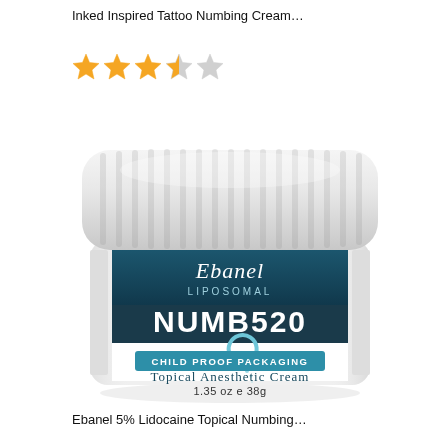Inked Inspired Tattoo Numbing Cream…
[Figure (other): 3.5 out of 5 stars rating shown with 3 filled gold stars, 1 half-filled star, and 1 empty star]
[Figure (photo): Ebanel Liposomal NUMB520 Topical Anesthetic Cream jar, 1.35 oz e 38g, with white child-proof cap. Label shows teal/dark blue design with brand name Ebanel in script, LIPOSOMAL text, NUMB520 in large bold letters, a clock icon, CHILD PROOF PACKAGING in teal box, and Topical Anesthetic Cream text.]
Ebanel 5% Lidocaine Topical Numbing…